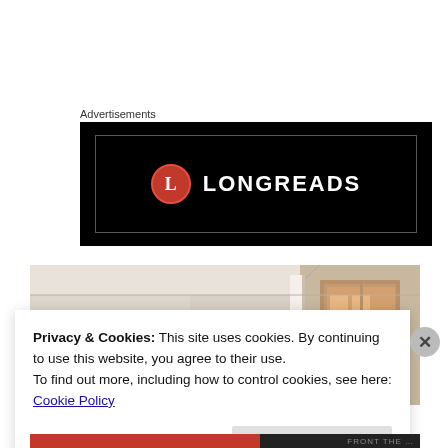Advertisements
[Figure (logo): Longreads logo on black background — red circle with 'L' and white text 'LONGREADS']
[Figure (photo): Interior room photo showing white walls, an open window with view of a building exterior, and a framed artwork on the wall]
Privacy & Cookies: This site uses cookies. By continuing to use this website, you agree to their use.
To find out more, including how to control cookies, see here: Cookie Policy
Close and accept